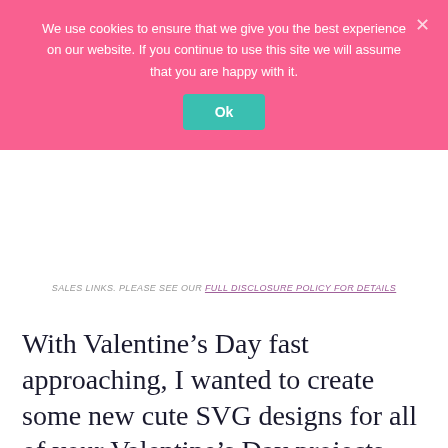We use cookies to ensure that we give you the best experience on our website. If you continue to use this site we will assume that you are happy with it.
Ok
SALES LINKS. PLEASE SEE OUR FULL DISCLOSURE POLICY FOR DETAILS
With Valentine’s Day fast approaching, I wanted to create some new cute SVG designs for all of your Valentine’s Day projects.
I’m so excited to share this “Hello Love” design with you